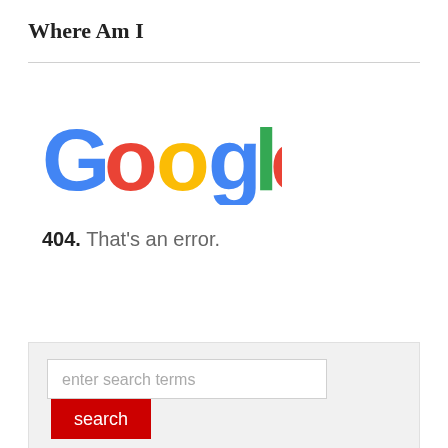Where Am I
[Figure (logo): Google logo with colored letters: G in blue, o in red, o in yellow, g in blue, l in green, e in red]
404. That's an error.
[Figure (screenshot): Search bar with input field labeled 'enter search terms' and a red 'search' button]